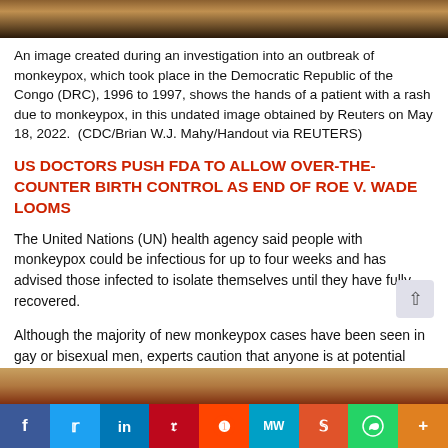[Figure (photo): Top portion of a monkeypox investigation image showing hands with rash, partially cropped at top]
An image created during an investigation into an outbreak of monkeypox, which took place in the Democratic Republic of the Congo (DRC), 1996 to 1997, shows the hands of a patient with a rash due to monkeypox, in this undated image obtained by Reuters on May 18, 2022.  (CDC/Brian W.J. Mahy/Handout via REUTERS)
US DOCTORS PUSH FDA TO ALLOW OVER-THE-COUNTER BIRTH CONTROL AS END OF ROE V. WADE LOOMS
The United Nations (UN) health agency said people with monkeypox could be infectious for up to four weeks and has advised those infected to isolate themselves until they have fully recovered.
Although the majority of new monkeypox cases have been seen in gay or bisexual men, experts caution that anyone is at potential risk.
[Figure (photo): Bottom portion of another image, partially visible at bottom of page]
f  Twitter  in  Pinterest  Reddit  MrW  Mi  WhatsApp  More